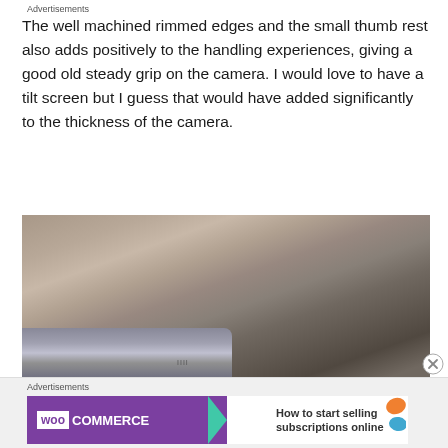The well machined rimmed edges and the small thumb rest also adds positively to the handling experiences, giving a good old steady grip on the camera. I would love to have a tilt screen but I guess that would have added significantly to the thickness of the camera.
[Figure (photo): Close-up photo of a camera body showing machined metal surfaces and a wood-grain textured background]
Advertisements
[Figure (screenshot): WooCommerce advertisement banner: 'How to start selling subscriptions online']